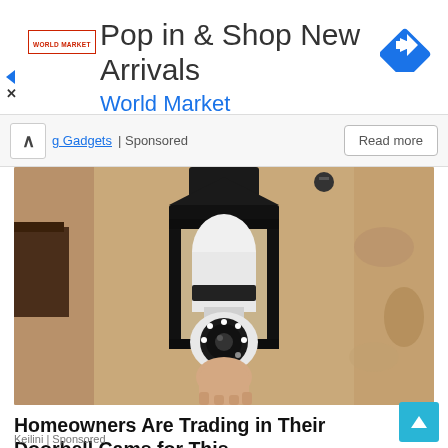[Figure (screenshot): Advertisement banner for World Market: 'Pop in & Shop New Arrivals' with blue navigation arrow icon and World Market logo]
g Gadgets | Sponsored
[Figure (photo): A security camera designed to look like a light bulb, installed in an outdoor black lantern fixture mounted on a stucco wall. A hand is holding/installing it.]
Homeowners Are Trading in Their Doorbell Cams for This.
Keilini | Sponsored